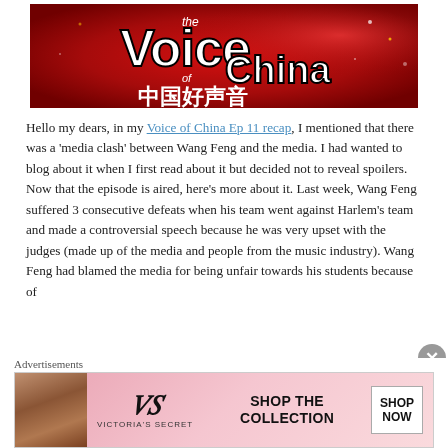[Figure (photo): The Voice of China (中国好声音) show logo on a red background]
Hello my dears, in my Voice of China Ep 11 recap, I mentioned that there was a 'media clash' between Wang Feng and the media. I had wanted to blog about it when I first read about it but decided not to reveal spoilers. Now that the episode is aired, here's more about it. Last week, Wang Feng suffered 3 consecutive defeats when his team went against Harlem's team and made a controversial speech because he was very upset with the judges (made up of the media and people from the music industry). Wang Feng had blamed the media for being unfair towards his students because of
Advertisements
[Figure (photo): Victoria's Secret advertisement banner with model, VS logo, SHOP THE COLLECTION text, and SHOP NOW button]